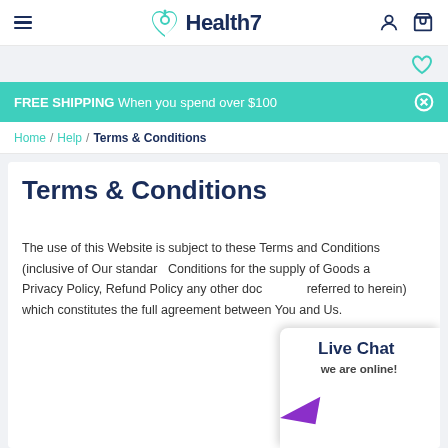Health7 — navigation header with hamburger menu, logo, user and cart icons
FREE SHIPPING When you spend over $100
Home / Help / Terms & Conditions
Terms & Conditions
The use of this Website is subject to these Terms and Conditions (inclusive of Our standard Conditions for the supply of Goods and Privacy Policy, Refund Policy any other documents referred to herein) which constitutes the full agreement between You and Us.
[Figure (screenshot): Live Chat widget showing 'Live Chat — we are online!' with purple arrow icon]